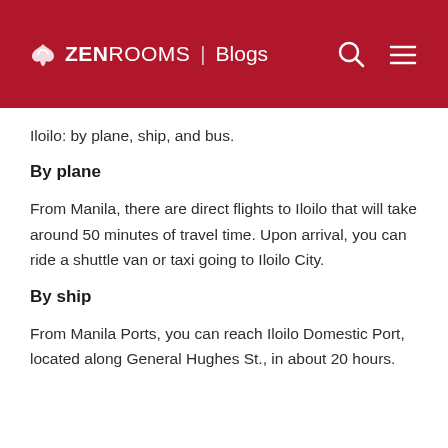ZEN ROOMS | Blogs
Iloilo: by plane, ship, and bus.
By plane
From Manila, there are direct flights to Iloilo that will take around 50 minutes of travel time. Upon arrival, you can ride a shuttle van or taxi going to Iloilo City.
By ship
From Manila Ports, you can reach Iloilo Domestic Port, located along General Hughes St., in about 20 hours.